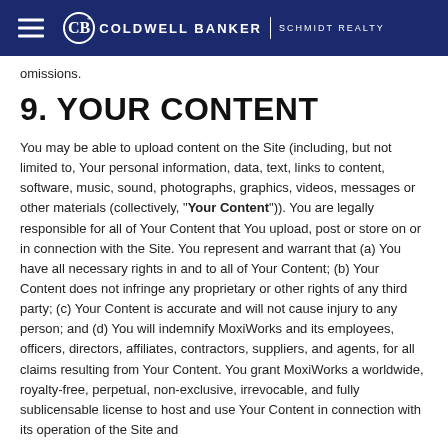Coldwell Banker Schmidt Realty
omissions.
9. YOUR CONTENT
You may be able to upload content on the Site (including, but not limited to, Your personal information, data, text, links to content, software, music, sound, photographs, graphics, videos, messages or other materials (collectively, "Your Content")). You are legally responsible for all of Your Content that You upload, post or store on or in connection with the Site. You represent and warrant that (a) You have all necessary rights in and to all of Your Content; (b) Your Content does not infringe any proprietary or other rights of any third party; (c) Your Content is accurate and will not cause injury to any person; and (d) You will indemnify MoxiWorks and its employees, officers, directors, affiliates, contractors, suppliers, and agents, for all claims resulting from Your Content. You grant MoxiWorks a worldwide, royalty-free, perpetual, non-exclusive, irrevocable, and fully sublicensable license to host and use Your Content in connection with its operation of the Site and